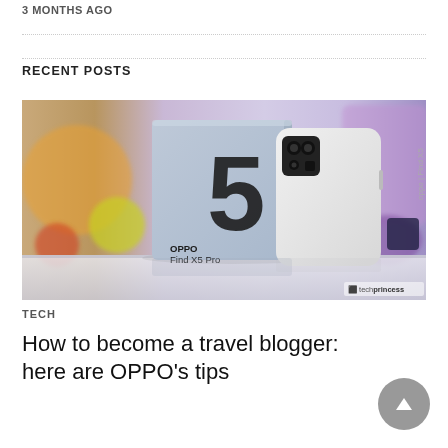3 MONTHS AGO
[Figure (photo): OPPO Find X5 Pro smartphone in white standing next to its box which shows a large number 5, photographed in a blurred colorful room background. Watermark reads techprincess.]
TECH
How to become a travel blogger: here are OPPO's tips